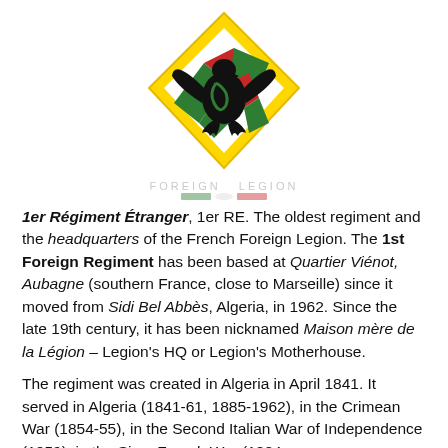[Figure (logo): 1er Régiment Étranger emblem: yellow diamond shape with a black eagle and green/red/green diagonal sash, on white background]
1er Régiment Étranger, 1er RE. The oldest regiment and the headquarters of the French Foreign Legion. The 1st Foreign Regiment has been based at Quartier Viénot, Aubagne (southern France, close to Marseille) since it moved from Sidi Bel Abbès, Algeria, in 1962. Since the late 19th century, it has been nicknamed Maison mère de la Légion – Legion's HQ or Legion's Motherhouse.
The regiment was created in Algeria in April 1841. It served in Algeria (1841-61, 1885-1962), in the Crimean War (1854-55), in the Second Italian War of Independence (1859), in the Sino–French War (1884-